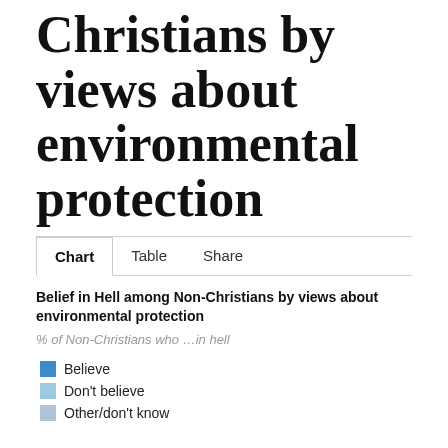Christians by views about environmental protection
Belief in Hell among Non-Christians by views about environmental protection
% of Non-Christians who ...in hell
Believe
Don't believe
Other/don't know